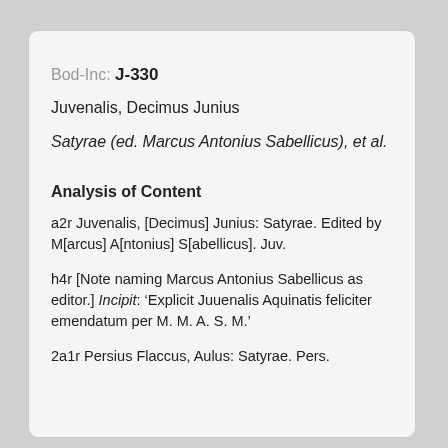Bod-Inc: J-330
Juvenalis, Decimus Junius
Satyrae (ed. Marcus Antonius Sabellicus), et al.
Analysis of Content
a2r Juvenalis, [Decimus] Junius: Satyrae. Edited by M[arcus] A[ntonius] S[abellicus]. Juv.
h4r [Note naming Marcus Antonius Sabellicus as editor.] Incipit: ‘Explicit Juuenalis Aquinatis feliciter emendatum per M. M. A. S. M.’
2a1r Persius Flaccus, Aulus: Satyrae. Pers.